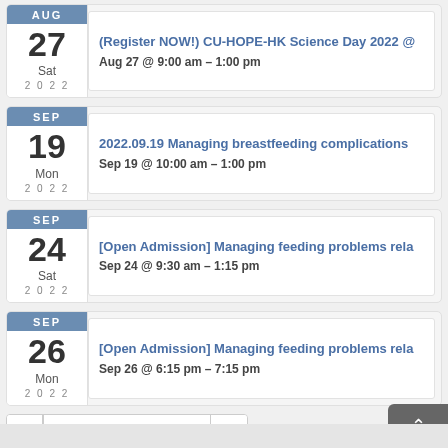(Register NOW!) CU-HOPE-HK Science Day 2022 @... Aug 27 @ 9:00 am – 1:00 pm, Sat 2022
2022.09.19 Managing breastfeeding complications... Sep 19 @ 10:00 am – 1:00 pm, Mon 2022
[Open Admission] Managing feeding problems rela... Sep 24 @ 9:30 am – 1:15 pm, Sat 2022
[Open Admission] Managing feeding problems rela... Sep 26 @ 6:15 pm – 7:15 pm, Mon 2022
JUN – SEP 2022